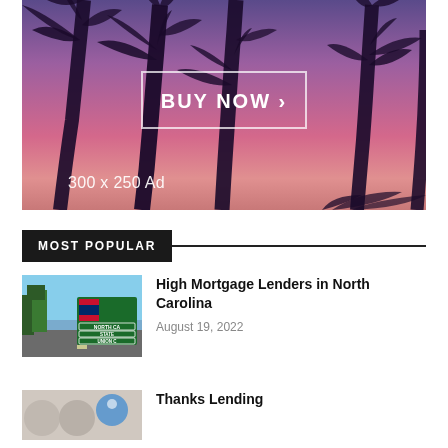[Figure (photo): Advertisement banner showing palm trees against a pink-purple sunset sky with a 'BUY NOW >' button in a white-bordered rectangle and '300 x 250 Ad' text in the lower left]
MOST POPULAR
[Figure (photo): Thumbnail image of a North Carolina state border sign with road and trees]
High Mortgage Lenders in North Carolina
August 19, 2022
Thanks Lending